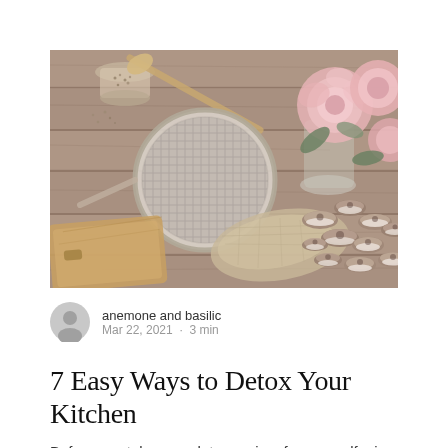[Figure (photo): Overhead kitchen scene on rustic wood table: a round metal sieve/strainer, a wooden spoon, a glass jar with salt/seeds, fresh pink roses in a glass vase, scattered mushrooms on burlap cloth, and a wooden cutting board.]
anemone and basilic
Mar 22, 2021 · 3 min
7 Easy Ways to Detox Your Kitchen
Before you take up a detox regime for yourself, give your kitchen a detox. It's a really...